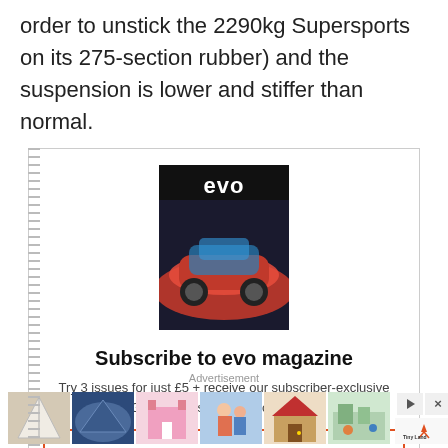order to unstick the 2290kg Supersports on its 275-section rubber) and the suspension is lower and stiffer than normal.
[Figure (other): Advertisement box for evo magazine subscription featuring the evo magazine cover image, bold headline 'Subscribe to evo magazine', subtext 'Try 3 issues for just £5 + receive our subscriber-exclusive Great Roads poster book FREE!', and a subscribe button outline.]
Advertisement
[Figure (other): Bottom advertisement banner showing a row of six product thumbnail images (children's play tents and toys) with a logo on the right side (Tiny Land), and play/close icons.]